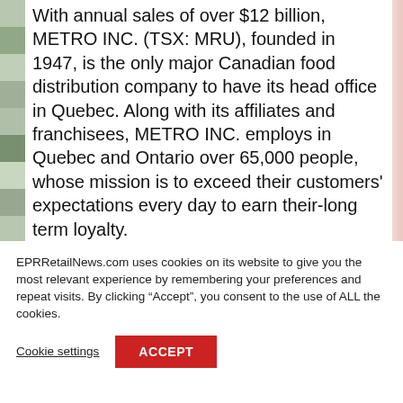With annual sales of over $12 billion, METRO INC. (TSX: MRU), founded in 1947, is the only major Canadian food distribution company to have its head office in Quebec. Along with its affiliates and franchisees, METRO INC. employs in Quebec and Ontario over 65,000 people, whose mission is to exceed their customers’ expectations every day to earn their-long term loyalty.
EPRRetailNews.com uses cookies on its website to give you the most relevant experience by remembering your preferences and repeat visits. By clicking “Accept”, you consent to the use of ALL the cookies.